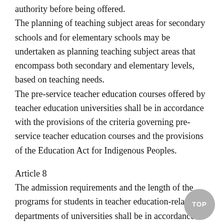authority before being offered.
The planning of teaching subject areas for secondary schools and for elementary schools may be undertaken as planning teaching subject areas that encompass both secondary and elementary levels, based on teaching needs.
The pre-service teacher education courses offered by teacher education universities shall be in accordance with the provisions of the criteria governing pre-service teacher education courses and the provisions of the Education Act for Indigenous Peoples.
Article 8
The admission requirements and the length of the programs for students in teacher education-related departments of universities shall be in accordance with the provisions of the University Act.
Universities with a teacher education center may select